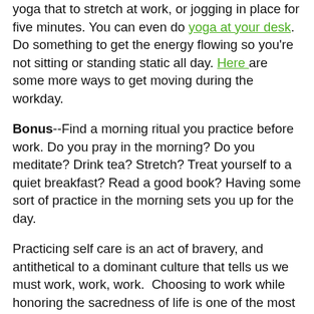yoga that to stretch at work, or jogging in place for five minutes. You can even do yoga at your desk. Do something to get the energy flowing so you're not sitting or standing static all day. Here are some more ways to get moving during the workday.
Bonus--Find a morning ritual you practice before work. Do you pray in the morning? Do you meditate? Drink tea? Stretch? Treat yourself to a quiet breakfast? Read a good book? Having some sort of practice in the morning sets you up for the day.
Practicing self care is an act of bravery, and antithetical to a dominant culture that tells us we must work, work, work.  Choosing to work while honoring the sacredness of life is one of the most beautiful things we can do. We not only do it for ourselves; we do it for the people in our lives who may not have had the time, resources, or